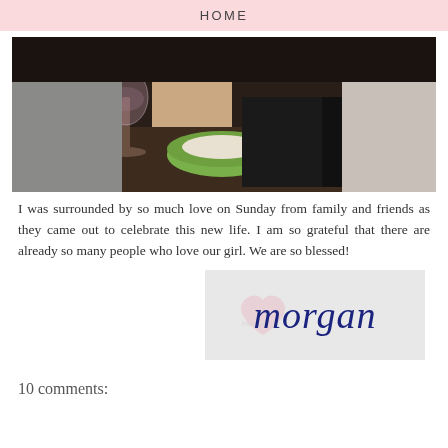HOME
[Figure (photo): A dark indoor photo showing a wine glass, a green bowl, and people's hands/legs in casual setting]
I was surrounded by so much love on Sunday from family and friends as they came out to celebrate this new life. I am so grateful that there are already so many people who love our girl. We are so blessed!
[Figure (logo): Signature logo reading 'morgan' in cursive blue script with a faded pink heart watermark on a light gray background]
10 comments: